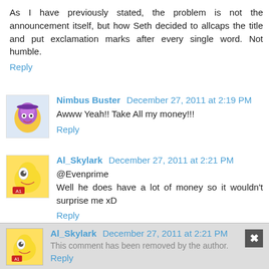As I have previously stated, the problem is not the announcement itself, but how Seth decided to allcaps the title and put exclamation marks after every single word. Not humble.
Reply
Nimbus Buster  December 27, 2011 at 2:19 PM
Awww Yeah!! Take All my money!!!
Reply
Al_Skylark  December 27, 2011 at 2:21 PM
@Evenprime
Well he does have a lot of money so it wouldn't surprise me xD
Reply
Al_Skylark  December 27, 2011 at 2:21 PM
This comment has been removed by the author.
Reply